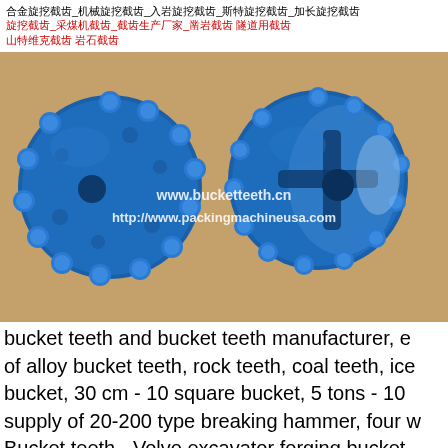合金旋挖截齿_机械旋挖截齿_入岩旋挖截齿_斯特旋挖截齿_加长旋挖截齿 旋挖截齿_采煤机截齿_截齿生产厂家_凿岩截齿 隧道用截齿 山特维克截齿 岩石截齿
[Figure (photo): Two blue alloy rotary excavation cutting teeth (bucket teeth) placed on a brown surface. Both teeth are disc-shaped with multiple carbide button inserts. Watermarks show www.bucketteeth.cn and http://www.packingmachineusa.com]
bucket teeth and bucket teeth manufacturer, e of alloy bucket teeth, rock teeth, coal teeth, ice bucket, 30 cm - 10 square bucket, 5 tons - 10 supply of 20-200 type breaking hammer, four w Bucket teeth - Volvo excavator forging bucket sharp teeth Volvo ec210-ec290 bucket teeth s Dipper tooth - Daewoo Series excavator dippe dipper tooth 360 dipper tooth sharp tooth 500